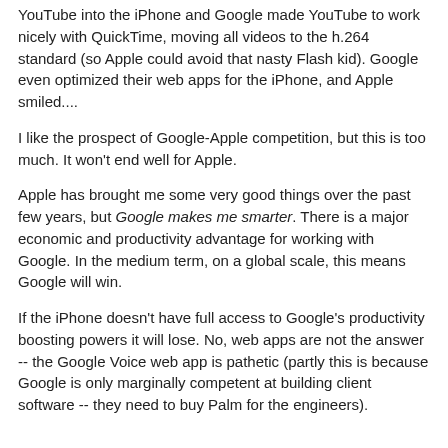YouTube into the iPhone and Google made YouTube to work nicely with QuickTime, moving all videos to the h.264 standard (so Apple could avoid that nasty Flash kid). Google even optimized their web apps for the iPhone, and Apple smiled....
I like the prospect of Google-Apple competition, but this is too much. It won't end well for Apple.
Apple has brought me some very good things over the past few years, but Google makes me smarter. There is a major economic and productivity advantage for working with Google. In the medium term, on a global scale, this means Google will win.
If the iPhone doesn't have full access to Google's productivity boosting powers it will lose. No, web apps are not the answer -- the Google Voice web app is pathetic (partly this is because Google is only marginally competent at building client software -- they need to buy Palm for the engineers).